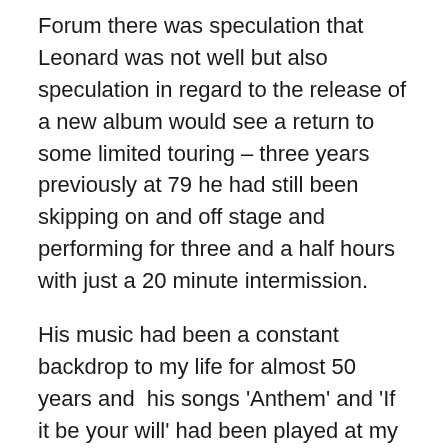Forum there was speculation that Leonard was not well but also speculation in regard to the release of a new album would see a return to some limited touring – three years previously at 79 he had still been skipping on and off stage and performing for three and a half hours with just a 20 minute intermission.
His music had been a constant backdrop to my life for almost 50 years and  his songs 'Anthem' and 'If it be your will' had been played at my mother's funeral 6 years ago and now Leonard was no longer with us.
I found it difficult to accept there would be no more concerts or albums and that Leonard would not be around. When I discovered that he had died on the Monday three days earlier I thought at least he was spared the spectacle of Trump being elected President of the USA as that would